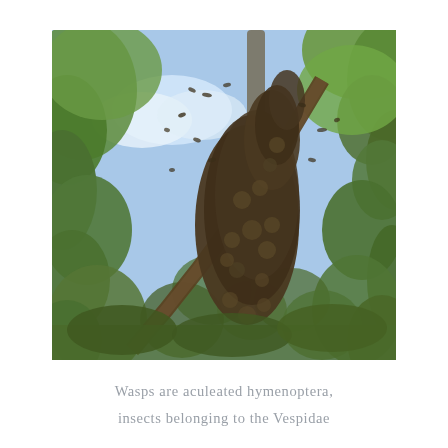[Figure (photo): A large swarm of wasps or bees clustered on a tree branch forming a large elongated mass, surrounded by green leafy trees under a blue sky with a few clouds. Several insects are visible flying around the swarm.]
Wasps are aculeated hymenoptera, insects belonging to the Vespidae